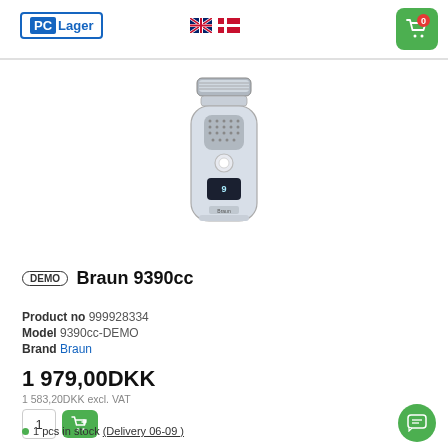PC Lager
[Figure (photo): Braun 9390cc electric shaver product photo, silver handheld foil shaver]
DEMO Braun 9390cc
Product no 999928334
Model 9390cc-DEMO
Brand Braun
1 979,00DKK
1 583,20DKK excl. VAT
1 pcs in stock (Delivery 06-09 )